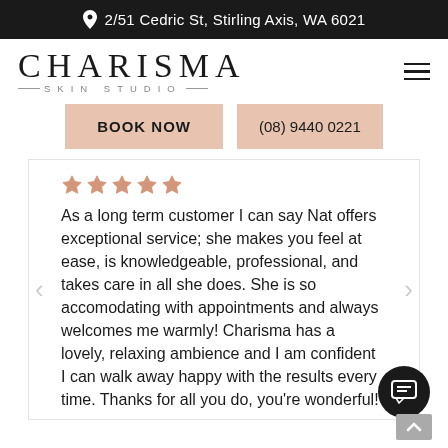2/51 Cedric St, Stirling Axis, WA 6021
[Figure (logo): Charisma Skin Studio logo with hamburger menu icon]
BOOK NOW  (08) 9440 0221
[Figure (illustration): Five star rating icons in pink/salmon color]
As a long term customer I can say Nat offers exceptional service; she makes you feel at ease, is knowledgeable, professional, and takes care in all she does. She is so accomodating with appointments and always welcomes me warmly! Charisma has a lovely, relaxing ambience and I am confident I can walk away happy with the results every time. Thanks for all you do, you're wonderful!